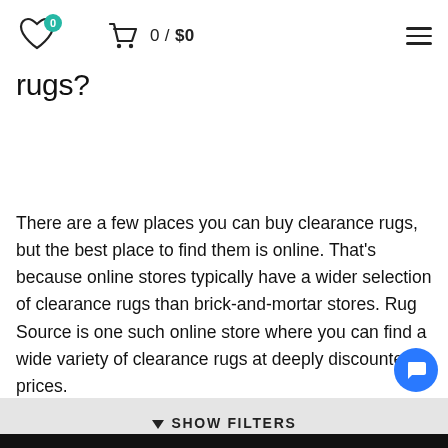[Figure (screenshot): Website header with heart icon (badge showing 0), shopping cart icon with label '0 / $0', and hamburger menu icon]
rugs?
There are a few places you can buy clearance rugs, but the best place to find them is online. That's because online stores typically have a wider selection of clearance rugs than brick-and-mortar stores. Rug Source is one such online store where you can find a wide variety of clearance rugs at deeply discounted prices.
SHOW FILTERS